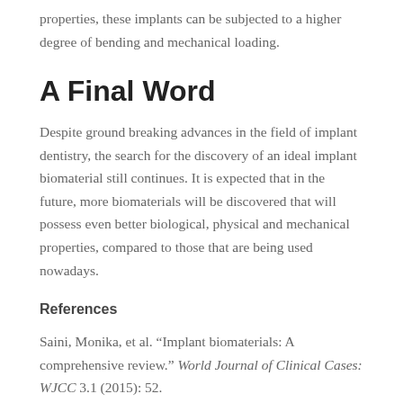properties, these implants can be subjected to a higher degree of bending and mechanical loading.
A Final Word
Despite ground breaking advances in the field of implant dentistry, the search for the discovery of an ideal implant biomaterial still continues. It is expected that in the future, more biomaterials will be discovered that will possess even better biological, physical and mechanical properties, compared to those that are being used nowadays.
References
Saini, Monika, et al. “Implant biomaterials: A comprehensive review.” World Journal of Clinical Cases: WJCC 3.1 (2015): 52.